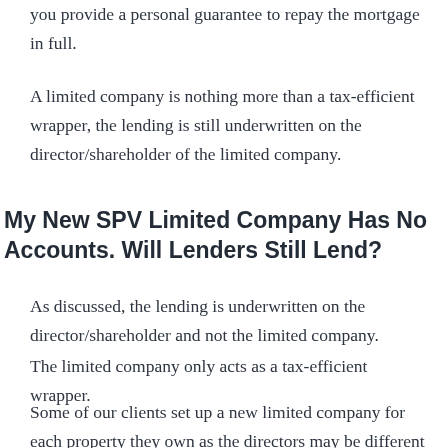you provide a personal guarantee to repay the mortgage in full.
A limited company is nothing more than a tax-efficient wrapper, the lending is still underwritten on the director/shareholder of the limited company.
My New SPV Limited Company Has No Accounts. Will Lenders Still Lend?
As discussed, the lending is underwritten on the director/shareholder and not the limited company.
The limited company only acts as a tax-efficient wrapper.
Some of our clients set up a new limited company for each property they own as the directors may be different or they just want to keep them all separate